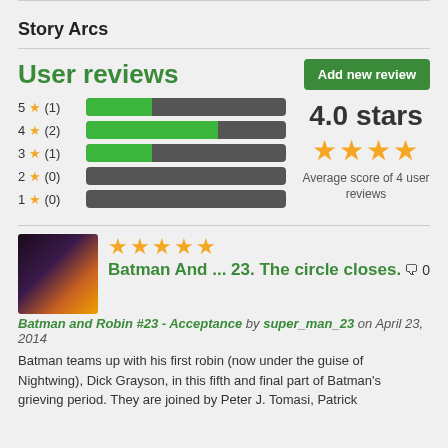Story Arcs
User reviews
Add new review
[Figure (bar-chart): User rating distribution]
4.0 stars
Average score of 4 user reviews
Batman And ... 23. The circle closes.
Batman and Robin #23 - Acceptance by super_man_23 on April 23, 2014
Batman teams up with his first robin (now under the guise of Nightwing), Dick Grayson, in this fifth and final part of Batman's grieving period. They are joined by Peter J. Tomasi, Patrick